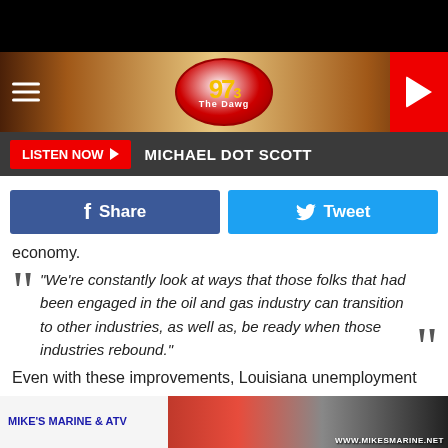[Figure (screenshot): Black top bar at top of mobile browser screen]
[Figure (logo): 97.3 The Dawg radio station logo oval badge in red with yellow text, on a wood-texture header band with hamburger menu on left and red play button on right]
LISTEN NOW ▶  MICHAEL DOT SCOTT
[Figure (infographic): Social sharing row: blue Facebook Share button and light blue Twitter Tweet button]
economy.
“We’re constantly look at ways that those folks that had been engaged in the oil and gas industry can transition to other industries, as well as, be ready when those industries rebound.”
Even with these improvements, Louisiana unemployment
[Figure (photo): Mike's Marine & ATV advertisement banner with logo text and product photo]